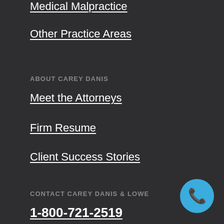Medical Malpractice
Other Practice Areas
ABOUT CAREY DANIS
Meet the Attorneys
Firm Resume
Client Success Stories
CONTACT CAREY DANIS & LOWE
1-800-721-2519